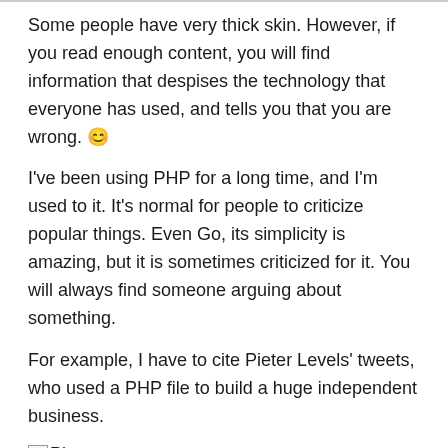Some people have very thick skin. However, if you read enough content, you will find information that despises the technology that everyone has used, and tells you that you are wrong. 😊
I've been using PHP for a long time, and I'm used to it. It's normal for people to criticize popular things. Even Go, its simplicity is amazing, but it is sometimes criticized for it. You will always find someone arguing about something.
For example, I have to cite Pieter Levels' tweets, who used a PHP file to build a huge independent business.
[Figure (photo): Image placeholder labeled 'Pieter']
However, as a beginner, you may find that some people say that you have chosen an old technology, and no one uses it anymore, and should use React instead. Ignore them and move them out of your mind.